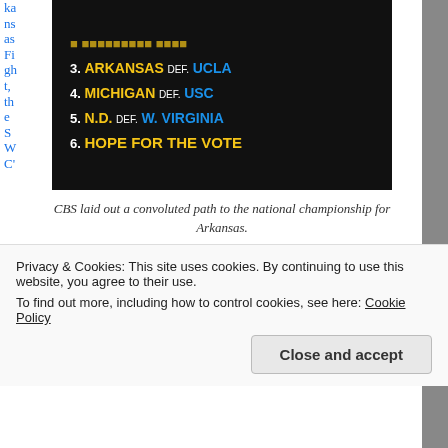Kansas Fight, the SWC's sordid reputation and a distaste for smashmouth football among the national media possibly contributed to the Hogs' low ranking:
[Figure (screenshot): TV graphic listing: 3. ARKANSAS DEF. UCLA, 4. MICHIGAN DEF. USC, 5. N.D. DEF. W. VIRGINIA, 6. HOPE FOR THE VOTE — CBS path to national championship for Arkansas]
CBS laid out a convoluted path to the national championship for Arkansas.
Kansas Fight, the SWC's sordid reputation and a distaste for smashmouth football among the national media possibly contributed to the Hogs' low ranking:
"[Sports Illustrated] paints a dismal picture of the '88
Privacy & Cookies: This site uses cookies. By continuing to use this website, you agree to their use.
To find out more, including how to control cookies, see here: Cookie Policy